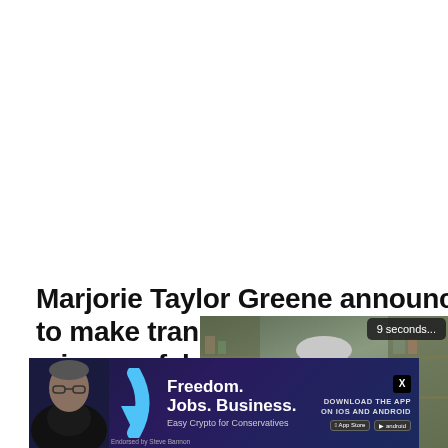Marjorie Taylor Greene announces plan to make transgender treatments for minors a felony
FEDERAL AGENCIES
[Figure (screenshot): Video screenshot showing an older man with glasses in a home office/studio setting with shelving behind him. A tooltip reads '9 seconds...' in the top right. Video controls (pause, rewind, settings, fullscreen) are shown at the bottom with a 'Just the News.' watermark.]
[Figure (screenshot): Advertisement banner with dark blue/purple background. Shows a man on the left, a blue checkmark/arrow graphic, and text reading 'Freedom. Jobs. Business. Easy Crypto for Conservatives.' with download buttons for iOS and Android and an X (Twitter) badge. Text reads 'DOWNLOAD THE APP ON IOS AND ANDROID'. Endorsed by Steve Bannon.]